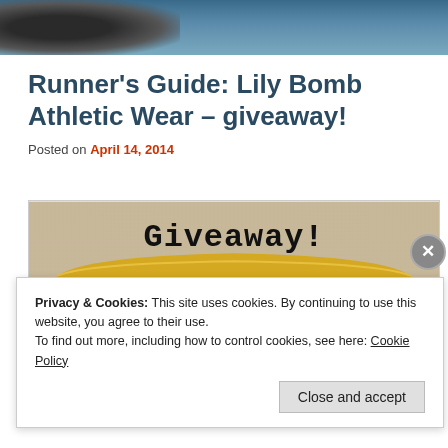[Figure (photo): Top banner with a partial photo of a person's head/face against a blue-toned background]
Runner's Guide: Lily Bomb Athletic Wear – giveaway!
Posted on April 14, 2014
[Figure (photo): Photo of a blue sparkly athletic skirt/skort with a gold waistband on a beige carpet, with 'Giveaway!' text overlay in a bold typewriter font]
Privacy & Cookies: This site uses cookies. By continuing to use this website, you agree to their use.
To find out more, including how to control cookies, see here: Cookie Policy
Close and accept